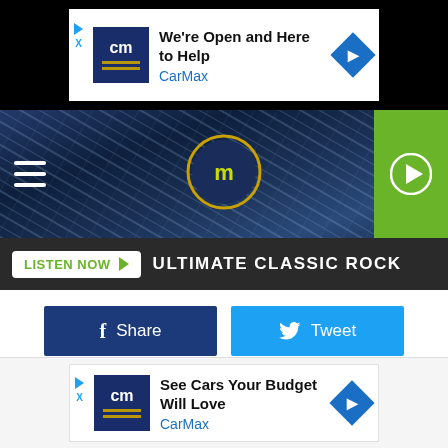[Figure (screenshot): CarMax advertisement banner - top. Shows CarMax logo, text 'We're Open and Here to Help' and 'CarMax' in blue, with navigation arrow icon.]
[Figure (screenshot): Ultimate Classic Rock website header with hamburger menu, site logo, and green play button.]
[Figure (screenshot): Listen Now button bar with 'LISTEN NOW' button and 'ULTIMATE CLASSIC ROCK' text on dark background.]
[Figure (screenshot): Social sharing buttons: blue Facebook Share button and cyan Twitter Tweet button.]
[Figure (screenshot): CarMax advertisement banner - bottom. Shows CarMax logo, text 'See Cars Your Budget Will Love' and 'CarMax' in blue, with navigation arrow icon.]